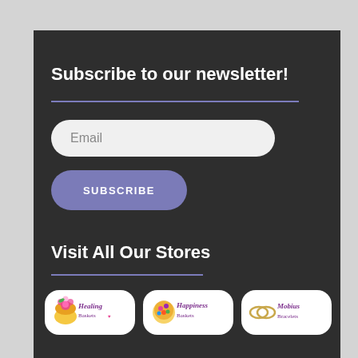Subscribe to our newsletter!
Email
SUBSCRIBE
Visit All Our Stores
[Figure (logo): Healing Baskets logo - pink flower basket with cursive text]
[Figure (logo): Happiness Baskets logo - colorful spots basket with text]
[Figure (logo): Mobius Bracelets logo - interlinked rings with text]